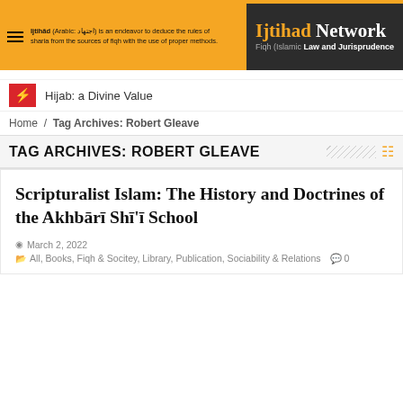[Figure (logo): Ijtihad Network banner with orange background, hamburger menu icon, Arabic text definition of Ijtihad, and dark logo area with 'Ijtihad Network - Fiqh (Islamic Law and Jurisprudence)']
Hijab: a Divine Value
Home / Tag Archives: Robert Gleave
TAG ARCHIVES: ROBERT GLEAVE
Scripturalist Islam: The History and Doctrines of the Akhbārī Shī'ī School
March 2, 2022
All, Books, Fiqh & Socitey, Library, Publication, Sociability & Relations  0